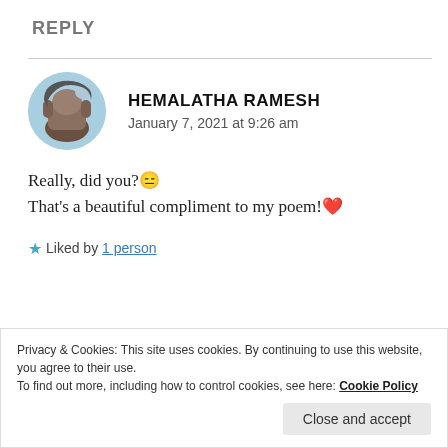REPLY
HEMALATHA RAMESH
January 7, 2021 at 9:26 am
Really, did you?😑
That's a beautiful compliment to my poem!❤
★ Liked by 1 person
REPLY
Privacy & Cookies: This site uses cookies. By continuing to use this website, you agree to their use.
To find out more, including how to control cookies, see here: Cookie Policy
Close and accept